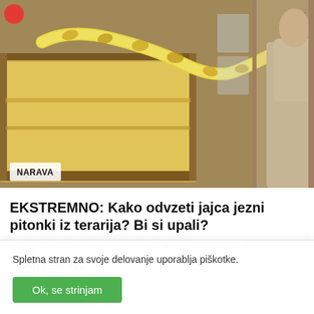[Figure (photo): A man handling a large yellow python/boa constrictor snake with tongs, pulling it from a terrarium with wooden frame and glass panels]
NARAVA
EKSTREMNO: Kako odvzeti jajca jezni pitonki iz terarija? Bi si upali?
30 avgusta, 2022, 4:54 dop   updated 30 avgusta, 2022, 11:23 dop
Spletna stran za svoje delovanje uporablja piškotke.
Ok, se strinjam